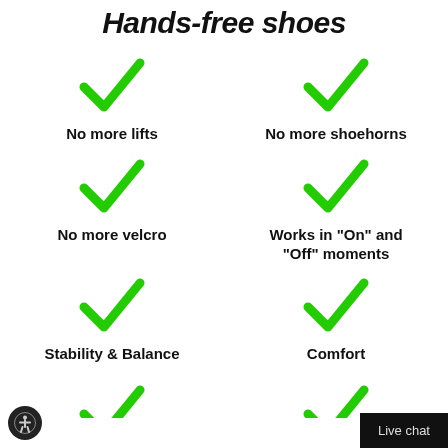Hands-free shoes
[Figure (infographic): Six feature icons each with a green checkmark and label: No more lifts, No more shoehorns, No more velcro, Works in "On" and "Off" moments, Stability & Balance, Comfort]
Live chat
[Figure (illustration): Accessibility icon (person in circle) button in bottom-left corner]